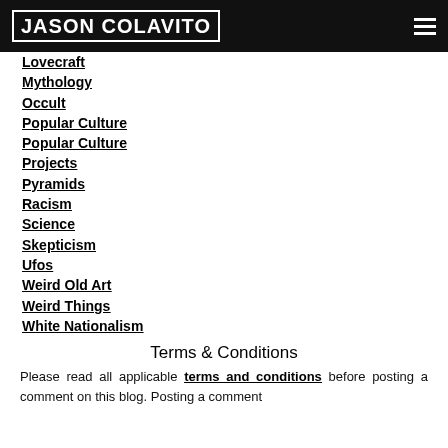Jason Colavito
Lovecraft
Mythology
Occult
Popular Culture
Popular Culture
Projects
Pyramids
Racism
Science
Skepticism
Ufos
Weird Old Art
Weird Things
White Nationalism
Terms & Conditions
Please read all applicable terms and conditions before posting a comment on this blog. Posting a comment